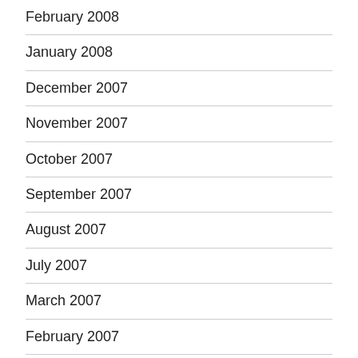February 2008
January 2008
December 2007
November 2007
October 2007
September 2007
August 2007
July 2007
March 2007
February 2007
December 2006
November 2006